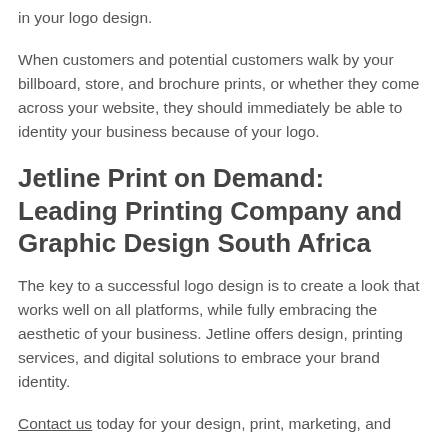in your logo design.
When customers and potential customers walk by your billboard, store, and brochure prints, or whether they come across your website, they should immediately be able to identity your business because of your logo.
Jetline Print on Demand: Leading Printing Company and Graphic Design South Africa
The key to a successful logo design is to create a look that works well on all platforms, while fully embracing the aesthetic of your business. Jetline offers design, printing services, and digital solutions to embrace your brand identity.
Contact us today for your design, print, marketing, and